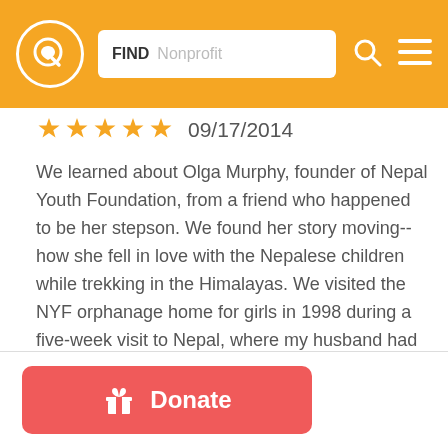FIND Nonprofit
09/17/2014
We learned about Olga Murphy, founder of Nepal Youth Foundation, from a friend who happened to be her stepson. We found her story moving-- how she fell in love with the Nepalese children while trekking in the Himalayas. We visited the NYF orphanage home for girls in 1998 during a five-week visit to Nepal, where my husband had served in the Peace Corps in the 1960's. We were so impressed with the NYF operations and their determination to care for and educate the neediest children. We began our annual donations that year and have continued them ever since. I
Donate